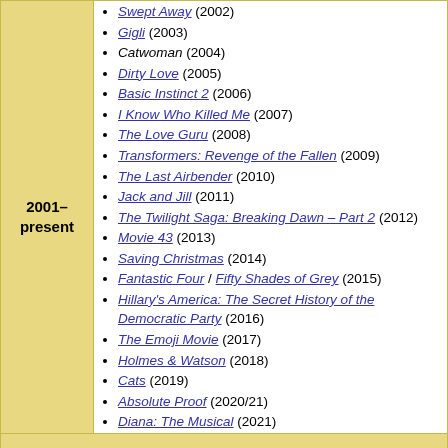2001–present
Swept Away (2002)
Gigli (2003)
Catwoman (2004)
Dirty Love (2005)
Basic Instinct 2 (2006)
I Know Who Killed Me (2007)
The Love Guru (2008)
Transformers: Revenge of the Fallen (2009)
The Last Airbender (2010)
Jack and Jill (2011)
The Twilight Saga: Breaking Dawn – Part 2 (2012)
Movie 43 (2013)
Saving Christmas (2014)
Fantastic Four / Fifty Shades of Grey (2015)
Hillary's America: The Secret History of the Democratic Party (2016)
The Emoji Movie (2017)
Holmes & Watson (2018)
Cats (2019)
Absolute Proof (2020/21)
Diana: The Musical (2021)
v
t